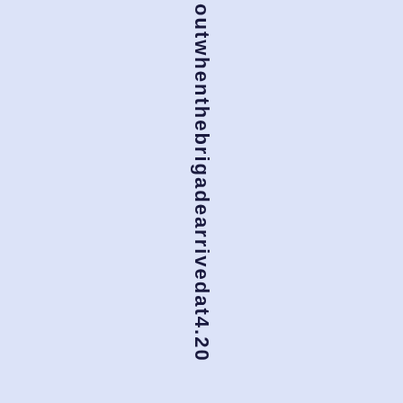outwhenthebrigadearrivedat4.20